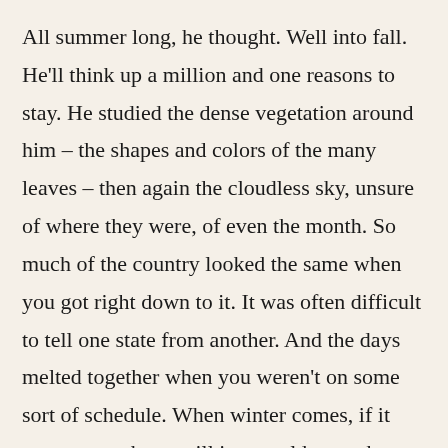All summer long, he thought. Well into fall. He'll think up a million and one reasons to stay. He studied the dense vegetation around him – the shapes and colors of the many leaves – then again the cloudless sky, unsure of where they were, of even the month. So much of the country looked the same when you got right down to it. It was often difficult to tell one state from another. And the days melted together when you weren't on some sort of schedule. When winter comes, if it even comes here, will it get cold enough to prod him into movement? Resigned to the fact that there was nothing he could do about it now, and that his father would be